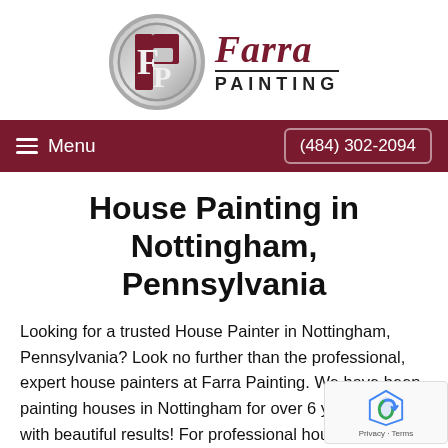[Figure (logo): Farra Painting logo with circular FP emblem and script/sans-serif text]
Menu  (484) 302-2094
House Painting in Nottingham, Pennsylvania
Looking for a trusted House Painter in Nottingham, Pennsylvania? Look no further than the professional, expert house painters at Farra Painting. We have been painting houses in Nottingham for over 6 years, and with beautiful results! For professional house painting in Nottingham you'll be proud to show off, call Farra P for a free quote.